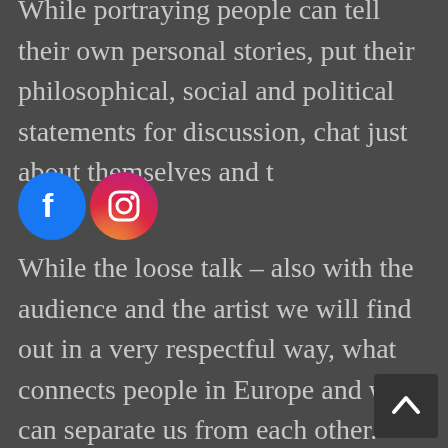While portraying people can tell their own personal stories, put their philosophical, social and political statements for discussion, chat just about themselves and t…
[Figure (logo): Facebook and Instagram social media icons]
While the loose talk – also with the audience and the artist we will find out in a very respectful way, what connects people in Europe and what can separate us from each other.
The process of "living portrait painting" will be filmed and possibly kept as a historical document. Maybe for another project, a documentary or a science project it will be kept.
The procedure of painted may convey a…